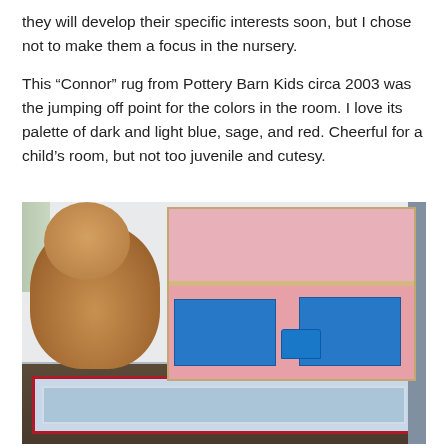they will develop their specific interests soon, but I chose not to make them a focus in the nursery.
This “Connor” rug from Pottery Barn Kids circa 2003 was the jumping off point for the colors in the room. I love its palette of dark and light blue, sage, and red. Cheerful for a child’s room, but not too juvenile and cutesy.
[Figure (photo): A child's room corner showing a large brown teddy bear sitting on a hardwood floor next to a wooden shelf unit with stuffed animals on top and blue Thomas the Tank Engine fabric storage bins. A blue Connor rug from Pottery Barn Kids is visible on the floor. A small Thomas train toy sits in front of the shelf. The shelf backing has a red and white geometric pattern.]